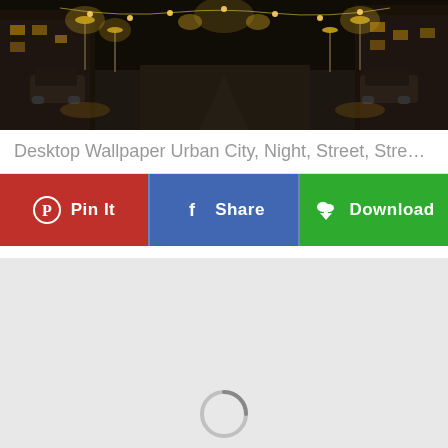[Figure (photo): Dark urban city street at night with street lights, cars parked along both sides, buildings with illuminated storefronts]
Desktop Wallpaper Urban City, Night, Street, Street Lig...
Pin It
Share
Download
[Figure (screenshot): Light gray content loading area with a spinning loading indicator at the bottom center]